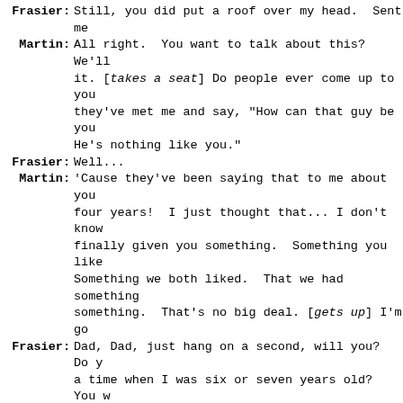Frasier: Still, you did put a roof over my head. Sent me
Martin: All right. You want to talk about this? We'll it. [takes a seat] Do people ever come up to you they've met me and say, "How can that guy be you He's nothing like you."
Frasier: Well...
Martin: 'Cause they've been saying that to me about you four years! I just thought that... I don't know finally given you something. Something you like Something we both liked. That we had something something. That's no big deal. [gets up] I'm go
Frasier: Dad, Dad, just hang on a second, will you? Do y a time when I was six or seven years old? You w ready for work, you were getting dressed. I was your badge and you sat me down and you said that a toy. That it was a symbol of something very i Of integrity and honesty and helping people. [Ma to himself as he reminisces] Well, from then on, I'd see you put on that badge I would think of t
Martin: I just said that so you'd stop playing with the You were getting it all sticky.
Frasier: Be that as it may, I've tried to live up to your help other people. I've tried as a psychiatrist myself with the same integrity that you showed a officer. And when I find myself in a quandary a proper course of action, I think of you wearing and then I know what I have to do. You gave me
Martin: Yeah?
Frasier: Yeah, Dad. Thanks.
Martin: You know? I think I may have something else to